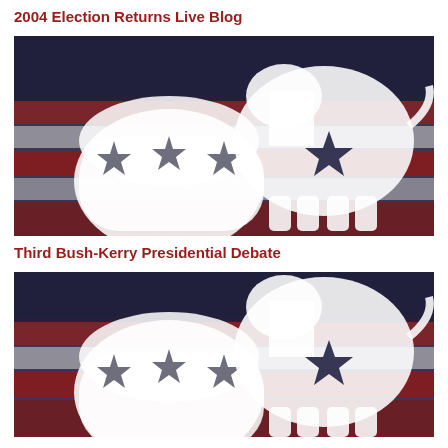2004 Election Returns Live Blog
[Figure (photo): Republican elephant and Democratic donkey symbols overlaid on an American flag background]
Third Bush-Kerry Presidential Debate
[Figure (photo): Republican elephant and Democratic donkey symbols overlaid on an American flag background (partial, cropped)]